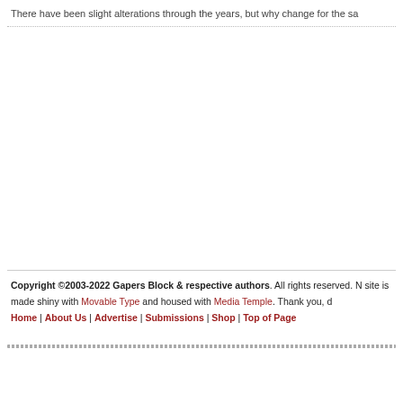There have been slight alterations through the years, but why change for the sa
Copyright ©2003-2022 Gapers Block & respective authors. All rights reserved. N site is made shiny with Movable Type and housed with Media Temple. Thank you, d Home | About Us | Advertise | Submissions | Shop | Top of Page